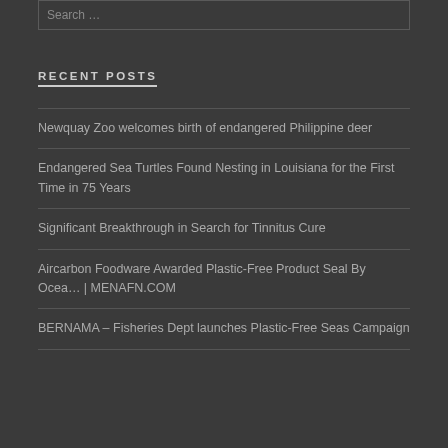Search …
RECENT POSTS
Newquay Zoo welcomes birth of endangered Philippine deer
Endangered Sea Turtles Found Nesting in Louisiana for the First Time in 75 Years
Significant Breakthrough in Search for Tinnitus Cure
Aircarbon Foodware Awarded Plastic-Free Product Seal By Ocea… | MENAFN.COM
BERNAMA – Fisheries Dept launches Plastic-Free Seas Campaign